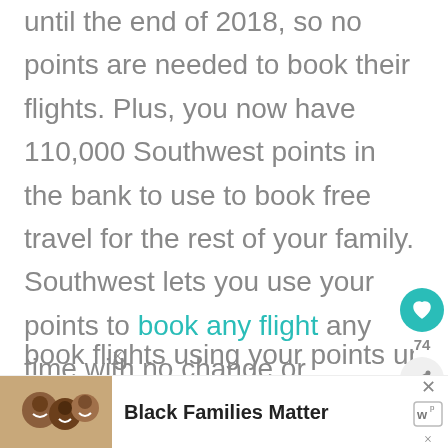until the end of 2018, so no points are needed to book their flights. Plus, you now have 110,000 Southwest points in the bank to use to book free travel for the rest of your family. Southwest lets you use your points to book any flight any time with no change or cancellation fees. That makes it very easy to book flights using your points unlike other airline loyalty programs that force you to
[Figure (photo): Advertisement banner with photo of smiling family and text 'Black Families Matter']